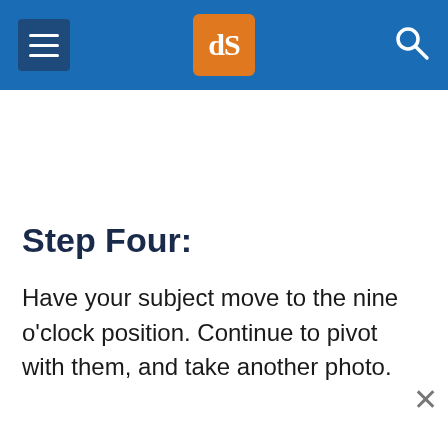dPS (digital photography school) header with hamburger menu, logo, and search icon
Step Four:
Have your subject move to the nine o'clock position. Continue to pivot with them, and take another photo.